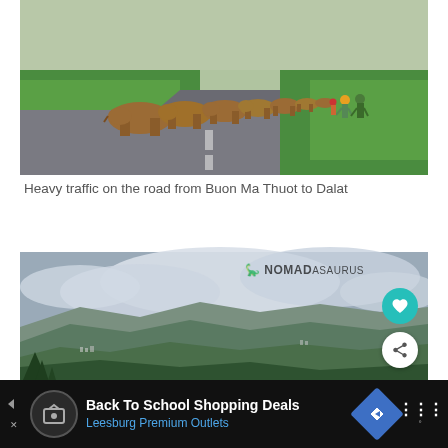[Figure (photo): Cattle walking along a rural road with green rice paddies on both sides, and people herding them in the background. Road from Buon Ma Thuot to Dalat, Vietnam.]
Heavy traffic on the road from Buon Ma Thuot to Dalat
[Figure (photo): Panoramic aerial landscape view of green valleys, a winding river, hills, and settlements under a cloudy sky. NOMADasaurus watermark visible in upper right.]
Back To School Shopping Deals
Leesburg Premium Outlets